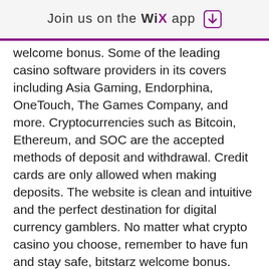Join us on the WiX app ↓
welcome bonus. Some of the leading casino software providers in its covers including Asia Gaming, Endorphina, OneTouch, The Games Company, and more. Cryptocurrencies such as Bitcoin, Ethereum, and SOC are the accepted methods of deposit and withdrawal. Credit cards are only allowed when making deposits. The website is clean and intuitive and the perfect destination for digital currency gamblers. No matter what crypto casino you choose, remember to have fun and stay safe, bitstarz welcome bonus. Online casinos that accept Bitcoin BTC payments will usually have them processed through a wallet operator or a direct deposit, bitstarz ingen innskuddsbonus 20 darmowe spiny. When you gamble online through the best bitcoin casinos, you can expect the